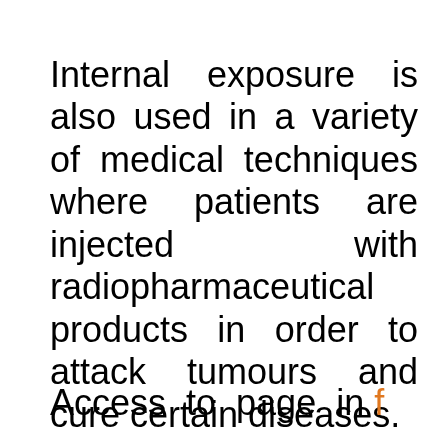Internal exposure is also used in a variety of medical techniques where patients are injected with radiopharmaceutical products in order to attack tumours and cure certain diseases.
Access to page in